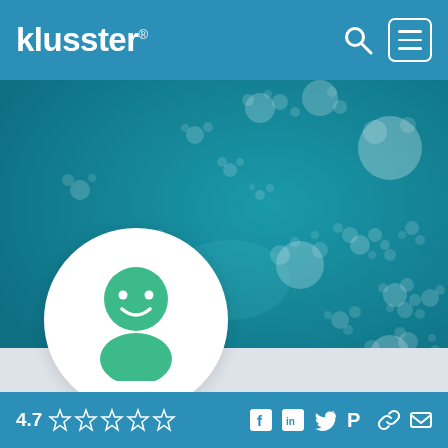klusster® [search icon] [menu icon]
[Figure (photo): Teal/turquoise background with white bubble-like circular formations scattered across the surface, resembling an aerial view of foam or algae on water.]
[Figure (illustration): White circular profile avatar containing a green smiley face icon with head and shoulders silhouette.]
4.7 ☆☆☆☆☆ [social icons: Facebook, LinkedIn, Twitter, Pinterest, Link, Email]